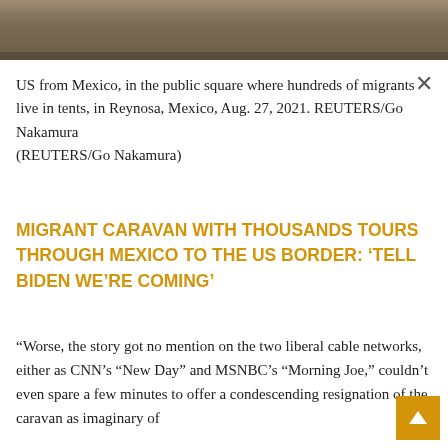[Figure (photo): Partial photo strip at top showing migrants in outdoor setting, Reynosa Mexico]
US from Mexico, in the public square where hundreds of migrants live in tents, in Reynosa, Mexico, Aug. 27, 2021. REUTERS/Go Nakamura
(REUTERS/Go Nakamura)
MIGRANT CARAVAN WITH THOUSANDS TOURS THROUGH MEXICO TO THE US BORDER: ‘Tell BIDEN we’re coming’
“Worse, the story got no mention on the two liberal cable networks, either as CNN’s “New Day” and MSNBC’s “Morning Joe,” couldn’t even spare a few minutes to offer a condescending resignation of the caravan as imaginary of